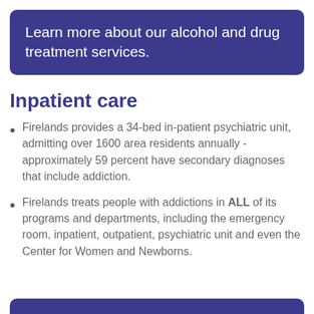Learn more about our alcohol and drug treatment services.
Inpatient care
Firelands provides a 34-bed in-patient psychiatric unit, admitting over 1600 area residents annually - approximately 59 percent have secondary diagnoses that include addiction.
Firelands treats people with addictions in ALL of its programs and departments, including the emergency room, inpatient, outpatient, psychiatric unit and even the Center for Women and Newborns.